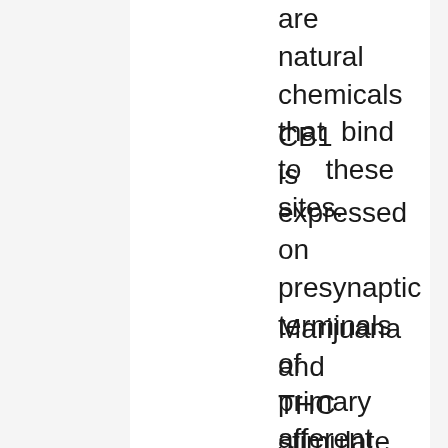are natural chemicals that bind to these sites.
CB1 is expressed on presynaptic terminals of primary afferent fibers, where CB2 expression is upon immune cells.
Marijuana and THC stimulate the CB1 receptor, the main mode of action for their psychoactive and euphoric effects. The CB1 receptor is also activated by